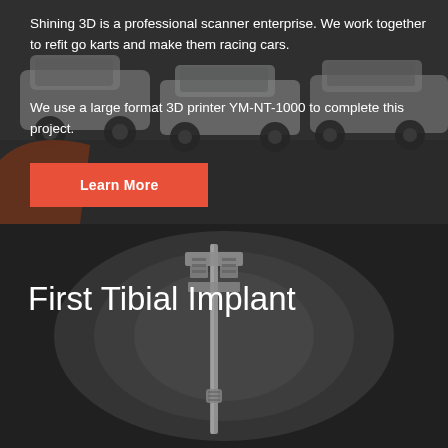[Figure (photo): Top section showing cars parked on a street, dark overlay, with white text describing Shining 3D scanner enterprise and 3D printer YM-NT-1000, and an orange Learn More button]
Shining 3D is a professional scanner enterprise. We work together to refit go karts and make them racing cars.
We use a large format 3D printer YM-NT-1000 to complete this project.
[Figure (photo): Bottom section showing a black and white X-ray image of a tibial implant in a leg, with white text overlay reading 'First Tibial Implant']
First Tibial Implant